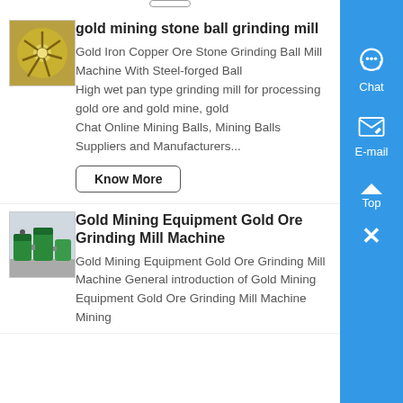[Figure (screenshot): Thumbnail image of a ball mill grinding mechanism with golden/metallic spiral blades]
gold mining stone ball grinding mill
Gold Iron Copper Ore Stone Grinding Ball Mill Machine With Steel-forged Ball
High wet pan type grinding mill for processing gold ore and gold mine, gold
Chat Online Mining Balls, Mining Balls Suppliers and Manufacturers...
Know More
[Figure (screenshot): Thumbnail image of green industrial grinding mill machines in a factory setting]
Gold Mining Equipment Gold Ore Grinding Mill Machine
Gold Mining Equipment Gold Ore Grinding Mill Machine General introduction of Gold Mining Equipment Gold Ore Grinding Mill Machine Mining